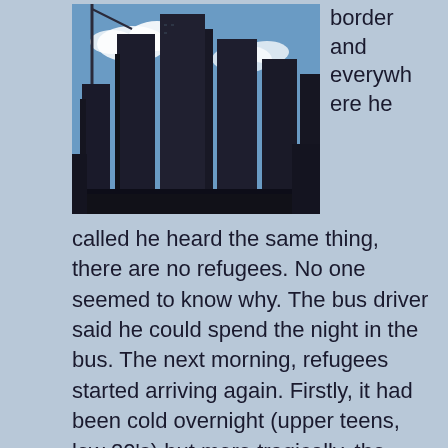[Figure (photo): Photograph of tall city skyscrapers and buildings against a blue sky with clouds, silhouetted in dark tones.]
border and everywhere he called he heard the same thing, there are no refugees.  No one seemed to know why.  The bus driver said he could spend the night in the bus.  The next morning, refugees started arriving again.  Firstly, it had been cold overnight (upper teens, low 20's) but more tragically, the Russians had been shooting at the trains.  They stopped the trains, and everyone took shelter through the night.  When they felt it was as safe as it would get, they continued their journey finally arriving at the border the next morning.  There was also a rush at the border after humanitarian corridors were opened to evacuate cities.  He told me of